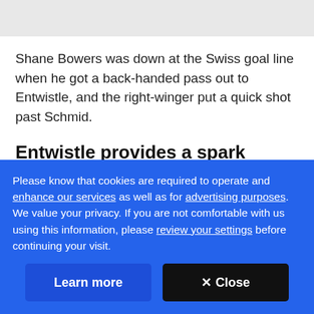Shane Bowers was down at the Swiss goal line when he got a back-handed pass out to Entwistle, and the right-winger put a quick shot past Schmid.
Entwistle provides a spark
Entwistle, a Blackhawks prospect, also scored on [text truncated]
Please know that cookies are required to operate and enhance our services as well as for advertising purposes. We value your privacy. If you are not comfortable with us using this information, please review your settings before continuing your visit.